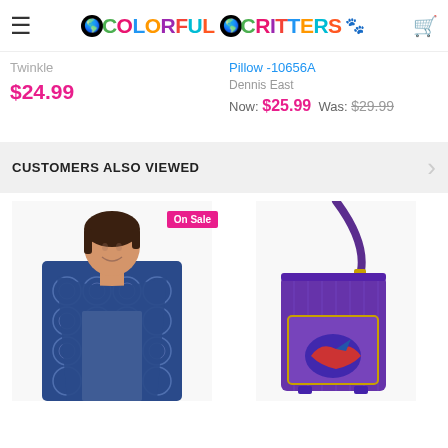[Figure (logo): Colorful Critters logo with multicolored text and paw print icon]
Twinkle
$24.99
Pillow -10656A
Dennis East
Now: $25.99  Was: $29.99
CUSTOMERS ALSO VIEWED
[Figure (photo): Woman wearing a navy blue patterned scarf with geometric circle design, smiling]
[Figure (photo): Purple crossbody bag with decorative bird/animal design on front]